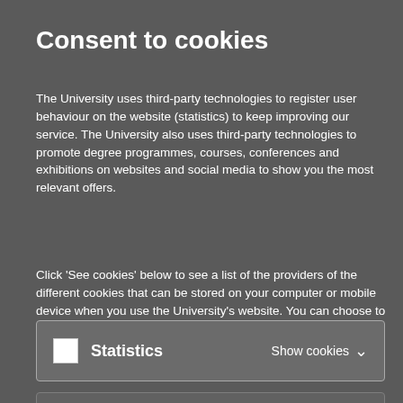Consent to cookies
The University uses third-party technologies to register user behaviour on the website (statistics) to keep improving our service. The University also uses third-party technologies to promote degree programmes, courses, conferences and exhibitions on websites and social media to show you the most relevant offers.
Click 'See cookies' below to see a list of the providers of the different cookies that can be stored on your computer or mobile device when you use the University's website. You can choose to accept or relect cookies and you can always review your consent
Statistics   Show cookies ∨
Marketing